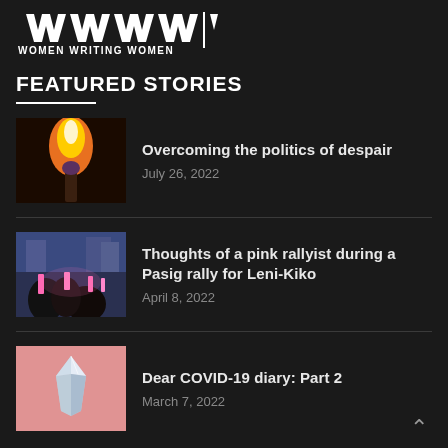WOMEN WRITING WOMEN
FEATURED STORIES
[Figure (illustration): Thumbnail image of a lit match with orange flame on dark background]
Overcoming the politics of despair
July 26, 2022
[Figure (photo): Thumbnail image of pink rally crowd at Pasig rally, people from behind with hands raised]
Thoughts of a pink rallyist during a Pasig rally for Leni-Kiko
April 8, 2022
[Figure (photo): Thumbnail image of a crystal/gem on pink fabric background]
Dear COVID-19 diary: Part 2
March 7, 2022